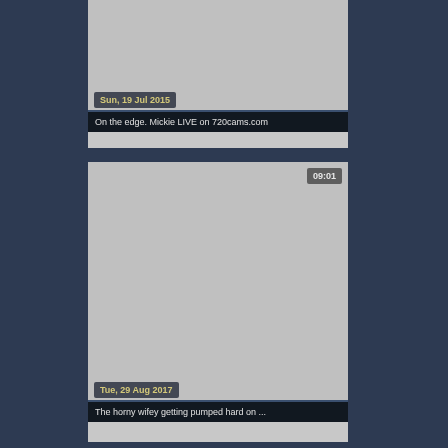[Figure (screenshot): Video thumbnail placeholder - grey area with date badge 'Sun, 19 Jul 2015']
On the edge. Mickie LIVE on 720cams.com
[Figure (screenshot): Video thumbnail placeholder - grey area with duration badge '09:01' and date badge 'Tue, 29 Aug 2017']
The horny wifey getting pumped hard on ...
[Figure (screenshot): Video thumbnail placeholder - grey area with duration badge '02:02' (partially visible)]